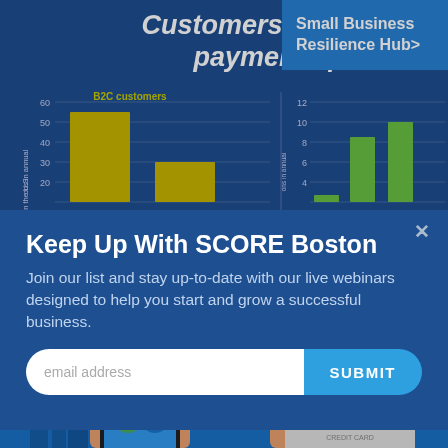Customers want many payment options
Small Business Resilience Hub>
[Figure (bar-chart): Bar chart showing B2C customer payment transaction counts, yellow bars, values approximately 55 and 28 billion]
[Figure (bar-chart): Bar chart showing B2C customer payment transaction counts, green bars, values approximately 1.5, 9, and 10 billion]
Keep Up With SCORE Boston
Join our list and stay up-to-date with our live webinars designed to help you start and grow a successful business.
[Figure (illustration): Bottom illustration showing hands holding smartphone and credit card against blue city background]